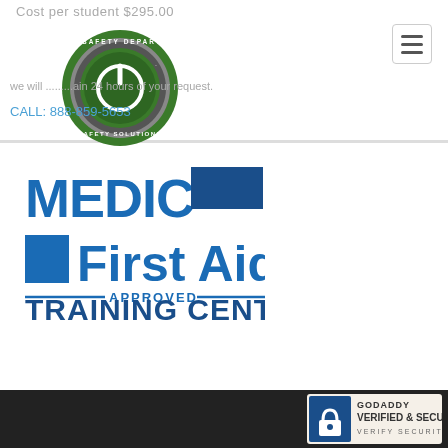Cost per student $295.00
[Figure (logo): Your Safety Department circular logo with power button icon, green and grey, text reads YOUR SAFETY DEPARTMENT SAFETY SOLUTIONS]
[Figure (other): Hamburger menu icon button]
we will ... ain 24 hours of your request.
CALL: 888-859-5653
[Figure (logo): Medic First Aid Approved Training Center logo in blue]
[Figure (logo): GoDaddy Verified and Secured badge]